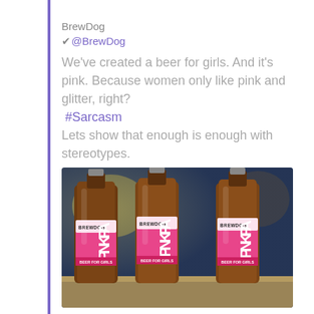BrewDog
✔@BrewDog
We've created a beer for girls. And it's pink. Because women only like pink and glitter, right? #Sarcasm Lets show that enough is enough with stereotypes.
[Figure (photo): Three amber bottles of BrewDog Pink IPA with pink labels reading 'PINK IPA' and 'BEER FOR GIRLS', standing on a surface with blurred background]
1,024